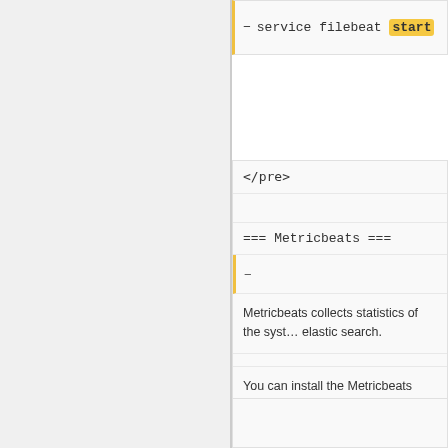service filebeat start
</pre>
=== Metricbeats ===
Metricbeats collects statistics of the system and sends it to elastic search.
You can install the Metricbeats from the